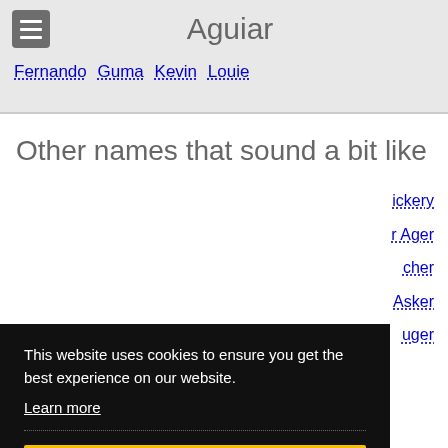Aguiar
Fernando Guma Kevin Louie
Other names that sound a bit like
This website uses cookies to ensure you get the best experience on our website.
Learn more
Got it!
ickery r Ager cher Asker uger
Augier Augieri Augir Augur Auker Auser Ausher